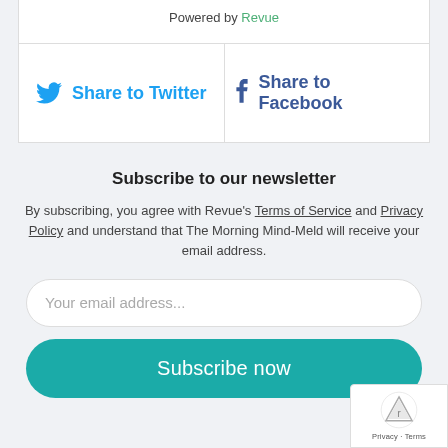Powered by Revue
Share to Twitter
Share to Facebook
Subscribe to our newsletter
By subscribing, you agree with Revue's Terms of Service and Privacy Policy and understand that The Morning Mind-Meld will receive your email address.
Your email address...
Subscribe now
Privacy · Terms